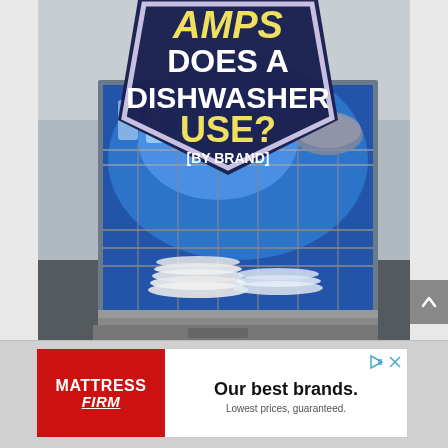[Figure (photo): Photo of an open dishwasher filled with plates, glasses and cookware, with blue interior lighting. Overlaid on top is a dark navy badge/shield shape containing yellow and white bold text reading 'AMPS DOES A DISHWASHER USE? [BY BRAND]']
[Figure (photo): Advertisement banner for Mattress Firm showing red logo section on left with 'MATTRESS FIRM' text and white content section on right reading 'Our best brands. Lowest prices, guaranteed.' with play and close icons top right.]